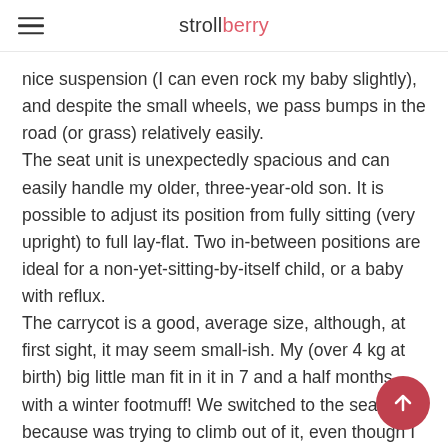strollberry
nice suspension (I can even rock my baby slightly), and despite the small wheels, we pass bumps in the road (or grass) relatively easily.
The seat unit is unexpectedly spacious and can easily handle my older, three-year-old son. It is possible to adjust its position from fully sitting (very upright) to full lay-flat. Two in-between positions are ideal for a non-yet-sitting-by-itself child, or a baby with reflux.
The carrycot is a good, average size, although, at first sight, it may seem small-ish. My (over 4 kg at birth) big little man fit in it in 7 and a half months - with a winter footmuff! We switched to the seat unit because was trying to climb out of it, even though I think I